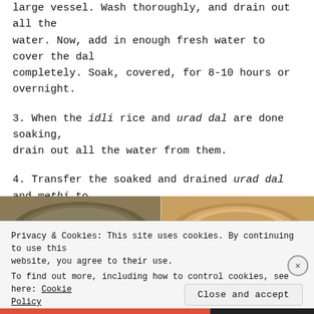large vessel. Wash thoroughly, and drain out all the water. Now, add in enough fresh water to cover the dal completely. Soak, covered, for 8-10 hours or overnight.
3. When the idli rice and urad dal are done soaking, drain out all the water from them.
4. Transfer the soaked and drained urad dal and methi to a mixer jar. Grind well, using a little water.
[Figure (photo): Two bowls side by side: left bowl contains soaked green/grey dal, right bowl contains soaked rice or dal with a golden/tan color.]
Privacy & Cookies: This site uses cookies. By continuing to use this website, you agree to their use.
To find out more, including how to control cookies, see here: Cookie Policy